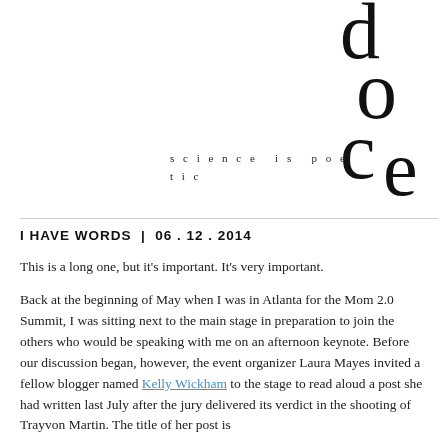[Figure (logo): Stylized logo with overlapping letters d, o, c, e in large serif typeface arranged decoratively in upper right corner]
science is poetic
I HAVE WORDS  |  06 . 12 . 2014
This is a long one, but it's important. It's very important.
Back at the beginning of May when I was in Atlanta for the Mom 2.0 Summit, I was sitting next to the main stage in preparation to join the others who would be speaking with me on an afternoon keynote. Before our discussion began, however, the event organizer Laura Mayes invited a fellow blogger named Kelly Wickham to the stage to read aloud a post she had written last July after the jury delivered its verdict in the shooting of Trayvon Martin. The title of her post is